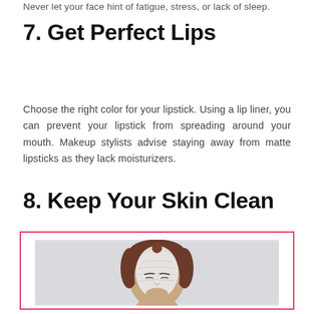Never let your face hint of fatigue, stress, or lack of sleep.
7. Get Perfect Lips
Choose the right color for your lipstick. Using a lip liner, you can prevent your lipstick from spreading around your mouth. Makeup stylists advise staying away from matte lipsticks as they lack moisturizers.
8. Keep Your Skin Clean
[Figure (photo): A woman with brown hair pulled back, eyes closed, with a white face mask applied to her face, against a light grey background. Image is framed with a pink/red border.]